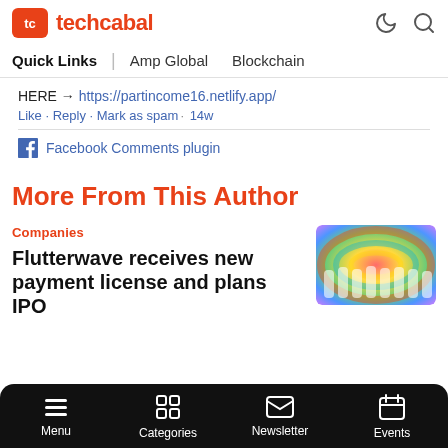techcabal
Quick Links | Amp Global Blockchain
HERE → https://partincome16.netlify.app/
Like · Reply · Mark as spam · 14w
Facebook Comments plugin
More From This Author
Companies
Flutterwave receives new payment license and plans IPO
[Figure (photo): Group photo of people in white t-shirts against colorful swirled background]
Menu Categories Newsletter Events